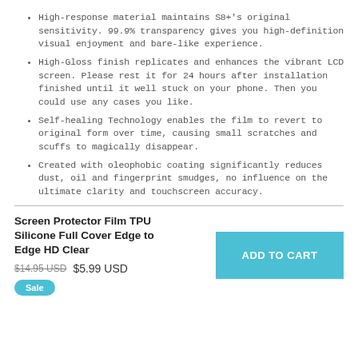High-response material maintains S8+'s original sensitivity. 99.9% transparency gives you high-definition visual enjoyment and bare-like experience.
High-Gloss finish replicates and enhances the vibrant LCD screen. Please rest it for 24 hours after installation finished until it well stuck on your phone. Then you could use any cases you like.
Self-healing Technology enables the film to revert to original form over time, causing small scratches and scuffs to magically disappear.
Created with oleophobic coating significantly reduces dust, oil and fingerprint smudges, no influence on the ultimate clarity and touchscreen accuracy.
Screen Protector Film TPU Silicone Full Cover Edge to Edge HD Clear
$14.95 USD  $5.99 USD
Sale
ADD TO CART